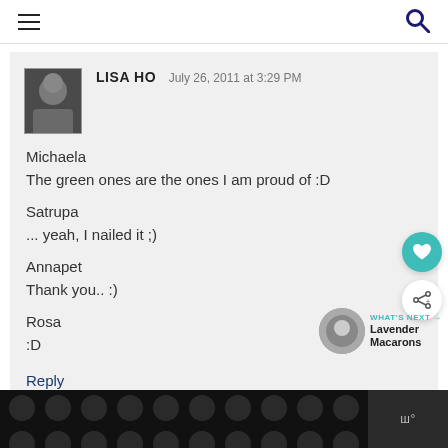LISA HO  July 26, 2011 at 3:29 PM
Michaela
The green ones are the ones I am proud of :D

Satrupa
... yeah, I nailed it ;)

Annapet
Thank you.. :)

Rosa
:D
Reply
[Figure (other): Bottom advertisement banner with polka dot pattern and logo]